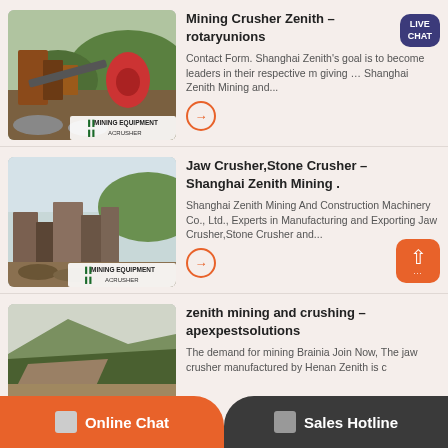Mining Crusher Zenith – rotaryunions
Contact Form. Shanghai Zenith's goal is to become leaders in their respective m giving … Shanghai Zenith Mining and...
Jaw Crusher,Stone Crusher – Shanghai Zenith Mining .
Shanghai Zenith Mining And Construction Machinery Co., Ltd., Experts in Manufacturing and Exporting Jaw Crusher,Stone Crusher and...
zenith mining and crushing – apexpestsolutions
The demand for mining Brainia Join Now, The jaw crusher manufactured by Henan Zenith is c
Online Chat
Sales Hotline